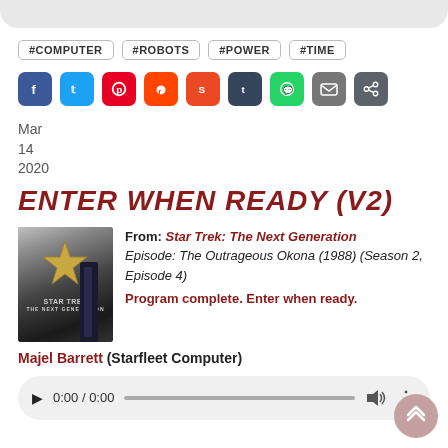#COMPUTER
#ROBOTS
#POWER
#TIME
[Figure (other): Social media share buttons: Facebook, Twitter, Pinterest, Reddit, StumbleUpon, Tumblr, WhatsApp, Email, Share]
Mar
14
2020
ENTER WHEN READY (V2)
[Figure (photo): Star Trek: The Next Generation DVD/Blu-ray cover image showing the Star Trek logo against a dark background]
From: Star Trek: The Next Generation
Episode: The Outrageous Okona (1988) (Season 2, Episode 4)
Program complete. Enter when ready.
Majel Barrett (Starfleet Computer)
[Figure (other): Audio player bar showing play button, time 0:00 / 0:00, progress bar, volume icon, and options dots]